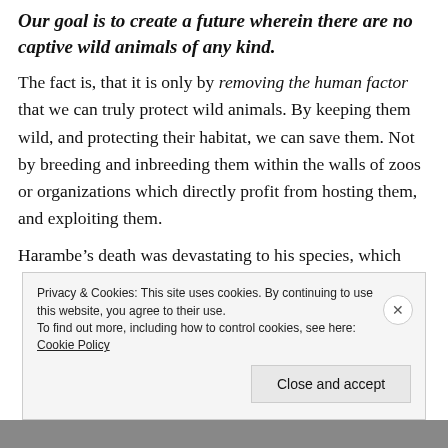Our goal is to create a future wherein there are no captive wild animals of any kind.
The fact is, that it is only by removing the human factor that we can truly protect wild animals. By keeping them wild, and protecting their habitat, we can save them. Not by breeding and inbreeding them within the walls of zoos or organizations which directly profit from hosting them, and exploiting them.
Harambe’s death was devastating to his species, which
Privacy & Cookies: This site uses cookies. By continuing to use this website, you agree to their use. To find out more, including how to control cookies, see here: Cookie Policy
Close and accept